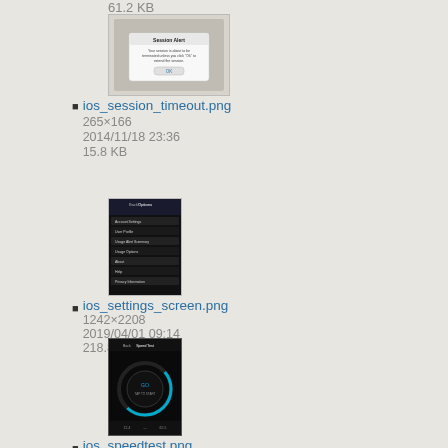61.2 KB
[Figure (screenshot): Thumbnail of ios_session_timeout.png showing a Session Alert dialog on an iOS device with OK button]
ios_session_timeout.png
265×166
2014/11/18 23:36
15.8 KB
[Figure (screenshot): Thumbnail of ios_settings_screen.png showing an iOS settings menu with dark header]
ios_settings_screen.png
1242×2208
2019/04/01 09:14
218.8 KB
[Figure (screenshot): Thumbnail of ios_speedtest.png showing a dark speedtest app interface with circular gauge]
ios_speedtest.png